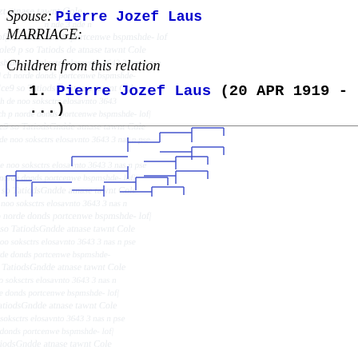Spouse: Pierre Jozef Laus
MARRIAGE:
Children from this relation
1. Pierre Jozef Laus (20 APR 1919 - ...)
[Figure (other): Genealogical tree diagram showing family branch lines rendered in blue, with faded historical manuscript handwriting as background watermark]